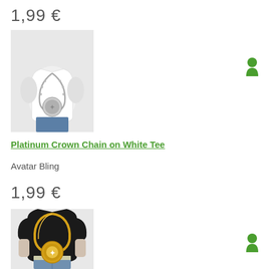1,99 €
[Figure (illustration): 3D avatar mannequin wearing a white tank top with a platinum crown chain/necklace with large circular pendant]
[Figure (illustration): Green avatar/person silhouette icon (keyhole shape)]
Platinum Crown Chain on White Tee
Avatar Bling
1,99 €
[Figure (illustration): 3D avatar mannequin wearing a black t-shirt with a large gold chain necklace with circular pendant]
[Figure (illustration): Green avatar/person silhouette icon (keyhole shape)]